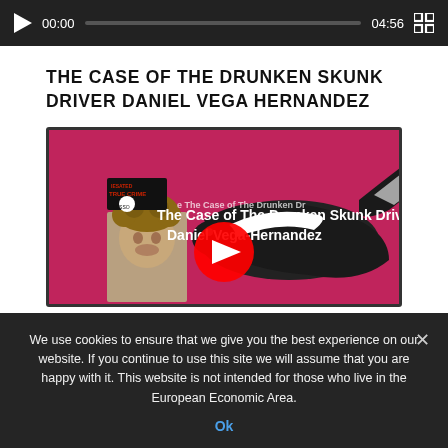[Figure (screenshot): Audio/video player bar with play button, current time 00:00, progress bar, duration 04:56, and fullscreen button on dark background]
THE CASE OF THE DRUNKEN SKUNK DRIVER DANIEL VEGA HERNANDEZ
[Figure (screenshot): YouTube video thumbnail for 'The Case of The Drunken Skunk Driver: Daniel Vega-Hernandez' showing a red/pink background with skunk illustration, mugshot photo, True Crime Obsessed logo, and YouTube play button overlay]
We use cookies to ensure that we give you the best experience on our website. If you continue to use this site we will assume that you are happy with it. This website is not intended for those who live in the European Economic Area.
Ok